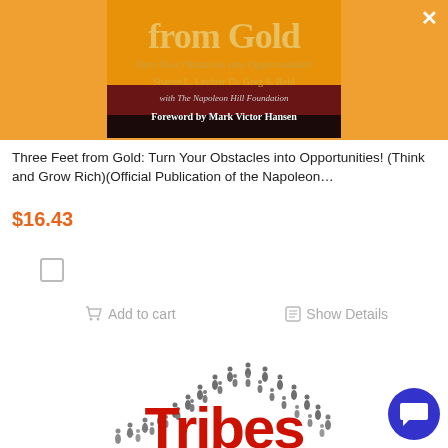[Figure (photo): Book cover for 'Three Feet from Gold: Turn Your Obstacles into Opportunities!' showing an orange cover with title text, authors Sharon L. Lechter and Dr. Greg S. Reid, with The Napoleon Hill Foundation, Foreword by Mark Victor Hansen]
Three Feet from Gold: Turn Your Obstacles into Opportunities! (Think and Grow Rich)(Official Publication of the Napoleon…
$16.43
[Figure (other): Checkbox (unchecked)]
Add to cart
Show Details
[Figure (photo): Book cover for 'Tribes' showing people arranged in a semicircle arc from aerial view, with the word 'Tribes' in large red letters at the bottom]